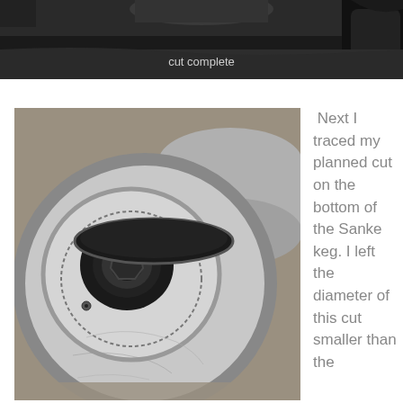[Figure (photo): Top portion of a photo showing a cut being made, dark background with metallic surfaces]
cut complete
[Figure (photo): Bottom view of a Sanke keg showing the interior with a circular cut traced on the bottom, stainless steel surface with markings]
Next I traced my planned cut on the bottom of the Sanke keg. I left the diameter of this cut smaller than the